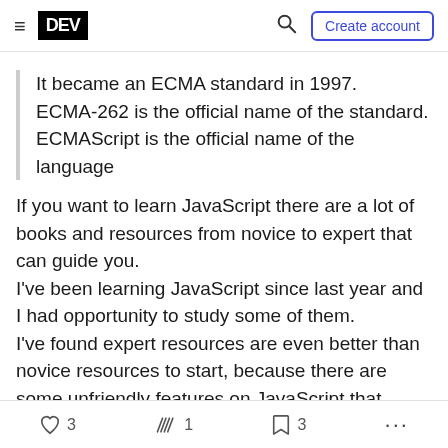DEV | Create account
It became an ECMA standard in 1997. ECMA-262 is the official name of the standard. ECMAScript is the official name of the language
If you want to learn JavaScript there are a lot of books and resources from novice to expert that can guide you.
I've been learning JavaScript since last year and I had opportunity to study some of them.
I've found expert resources are even better than novice resources to start, because there are some unfriendly features on JavaScript that novice resources don't cover them and so can waste you
3  1  3  ...